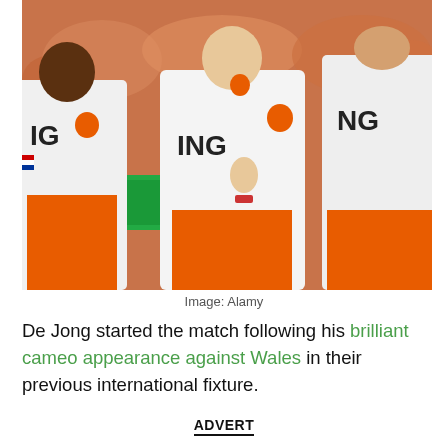[Figure (photo): Three Netherlands football players in white jerseys with ING sponsor and orange shorts running/warming up, with an orange-clad crowd in the background.]
Image: Alamy
De Jong started the match following his brilliant cameo appearance against Wales in their previous international fixture.
ADVERT